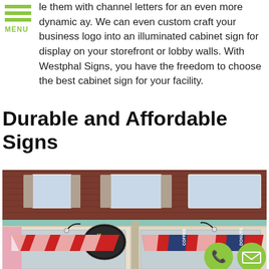MENU
le them with channel letters for an even more dynamic ay. We can even custom craft your business logo into an illuminated cabinet sign for display on your storefront or lobby walls. With Westphal Signs, you have the freedom to choose the best cabinet sign for your facility.
Durable and Affordable Signs
[Figure (photo): Storefront of Honey Dew Donuts shop with striped red and white awnings, brick building exterior, and illuminated cabinet sign above the entrance.]